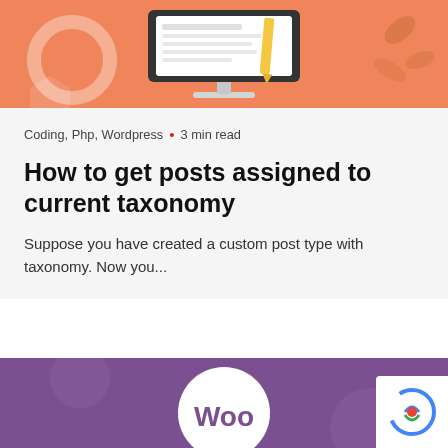[Figure (illustration): Orange/coral background with a desktop computer monitor illustration showing a document with yellow pencil graphic, circular and hexagonal geometric shapes on sides, and leaf/plant decorations in the background.]
Coding, Php, Wordpress • 3 min read
How to get posts assigned to current taxonomy
Suppose you have created a custom post type with taxonomy. Now you...
[Figure (logo): Purple background with WooCommerce (Woo) logo — white circle containing the WooCommerce 'Woo' wordmark in purple.]